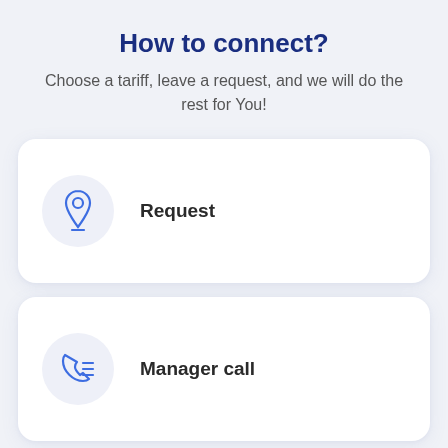How to connect?
Choose a tariff, leave a request, and we will do the rest for You!
[Figure (illustration): Card with a blue location pin icon inside a light blue circle, labeled 'Request']
[Figure (illustration): Card with a blue phone/call icon inside a light blue circle, labeled 'Manager call']